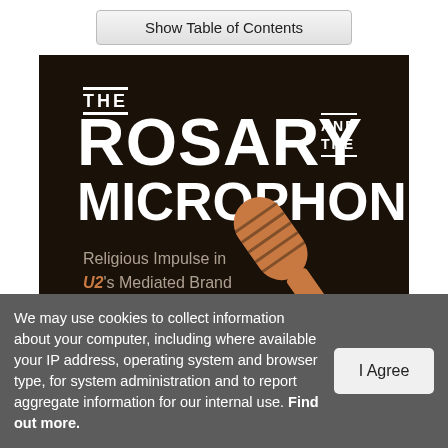[Figure (illustration): Button labeled 'Show Table of Contents' with a light gray gradient background and border]
[Figure (illustration): Book cover for 'The Rosary and the Microphone: Religious Impulse in U2's Mediated Brand'. Dark brown/black background with large white bold text for the title, brown/copper colored subtitle text, and a stylized brown silhouette of a microphone in the lower right.]
We may use cookies to collect information about your computer, including where available your IP address, operating system and browser type, for system administration and to report aggregate information for our internal use. Find out more.